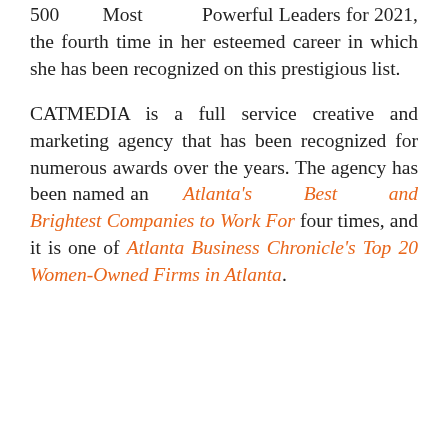500 Most Powerful Leaders for 2021, the fourth time in her esteemed career in which she has been recognized on this prestigious list.
CATMEDIA is a full service creative and marketing agency that has been recognized for numerous awards over the years. The agency has been named an Atlanta's Best and Brightest Companies to Work For four times, and it is one of Atlanta Business Chronicle's Top 20 Women-Owned Firms in Atlanta.